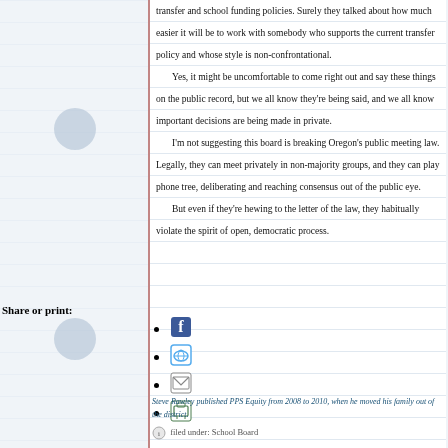transfer and school funding policies. Surely they talked about how much easier it will be to work with somebody who supports the current transfer policy and whose style is non-confrontational.

Yes, it might be uncomfortable to come right out and say these things on the public record, but we all know they're being said, and we all know important decisions are being made in private.

I'm not suggesting this board is breaking Oregon's public meeting law. Legally, they can meet privately in non-majority groups, and they can play phone tree, deliberating and reaching consensus out of the public eye.

But even if they're hewing to the letter of the law, they habitually violate the spirit of open, democratic process.
Share or print:
[Figure (illustration): Social sharing icons: Facebook, Twitter, Email, Print]
Steve Rawley published PPS Equity from 2008 to 2010, when he moved his family out of the district.
filed under: School Board